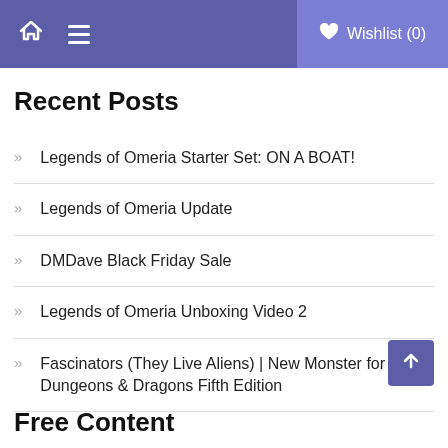Home | Menu | Wishlist (0)
Recent Posts
Legends of Omeria Starter Set: ON A BOAT!
Legends of Omeria Update
DMDave Black Friday Sale
Legends of Omeria Unboxing Video 2
Fascinators (They Live Aliens) | New Monster for Dungeons & Dragons Fifth Edition
Free Content